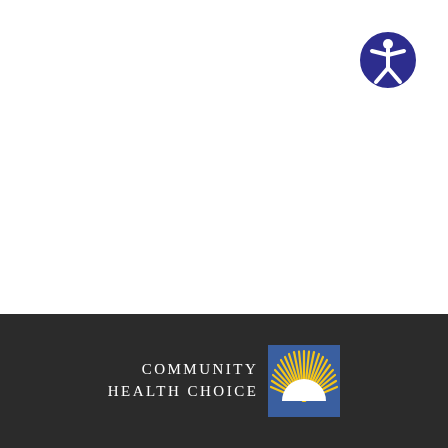[Figure (logo): Accessibility icon: dark blue circle with white human figure (person with arms and legs outstretched) in the center, positioned top-right corner]
[Figure (logo): Community Health Choice logo: blue square with golden/yellow sunburst rays radiating upward and a white semicircle at the bottom representing a rising sun, accompanied by text COMMUNITY HEALTH CHOICE in white serif letters, on dark background footer bar]